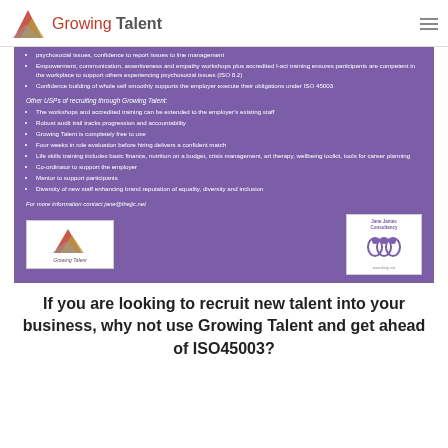Growing Talent
[Figure (screenshot): Purple promotional box for Growing Talent with bullet points listing USPs, contact info, and logos]
If you are looking to recruit new talent into your business, why not use Growing Talent and get ahead of ISO45003?